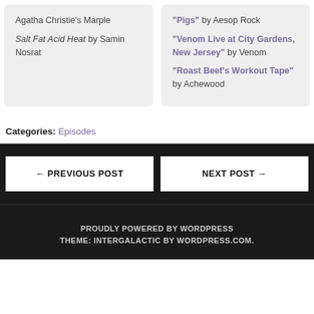Agatha Christie's Marple
Salt Fat Acid Heat by Samin Nosrat
"Pigs" by Aesop Rock
"Venom Live at City Gardens, New Jersey" by Venom
"Roast Beef's Workout Tape" by Achewood
Categories: Episodes
← PREVIOUS POST
NEXT POST →
PROUDLY POWERED BY WORDPRESS
THEME: INTERGALACTIC BY WORDPRESS.COM.